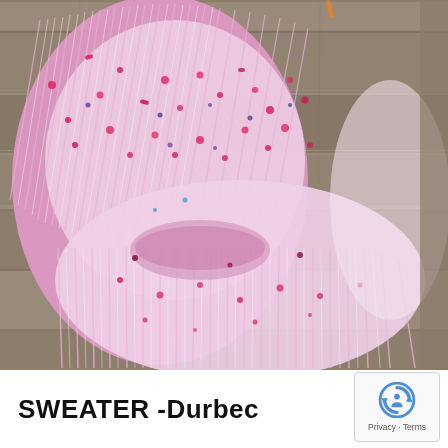[Figure (photo): A skein of hand-dyed yarn in pale pink/white speckled with magenta, hot pink, red, blue, and purple spots, photographed on a weathered grey wooden board background.]
SWEATER -Durbec